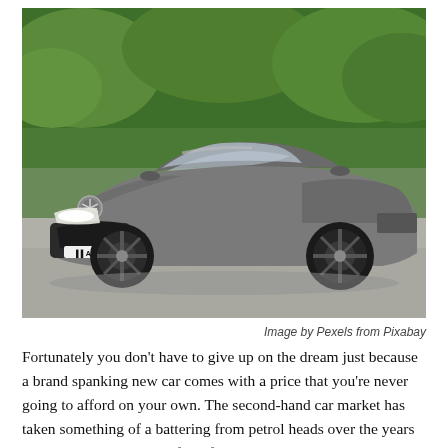[Figure (photo): A grey Mercedes-AMG sports car photographed from the front-left, parked on a surface with green trees in the background. The car has the AMG badge on the front plate and large black alloy wheels.]
Image by Pexels from Pixabay
Fortunately you don't have to give up on the dream just because a brand spanking new car comes with a price that you're never going to afford on your own. The second-hand car market has taken something of a battering from petrol heads over the years because they believe it's full of tired models that spend more time on the hard shoulder than hugging the apex, but in actual fact there are more and more amazing deals to be found on second-hand forecourts.